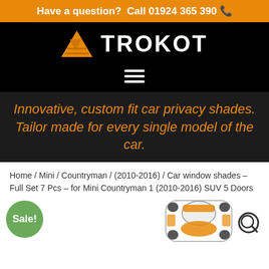Have a question?  Call 01924 365 390 📞
[Figure (logo): Trokot logo: orange triangle/mountain mark with white TROKOT wordmark on black background]
[Figure (other): Hamburger menu icon (three horizontal white lines) on black background]
Innovative, custom fit car privacy shades. Tailor made for every single model of the car.
Home / Mini / Countryman / (2010-2016) / Car window shades – Full Set 7 Pcs – for Mini Countryman 1 (2010-2016) SUV 5 Doors
Sale!
[Figure (illustration): Top-down illustration of a car (Mini Countryman) showing orange-shaded window areas with a magnifying glass icon in the corner]